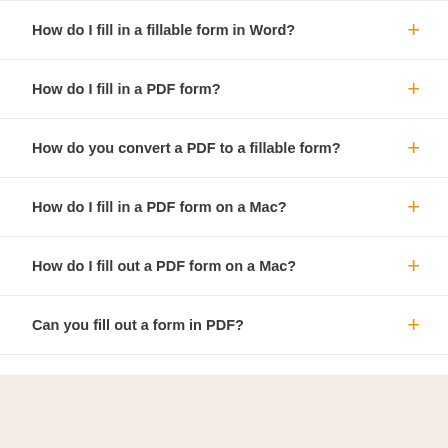How do I fill in a fillable form in Word?
How do I fill in a PDF form?
How do you convert a PDF to a fillable form?
How do I fill in a PDF form on a Mac?
How do I fill out a PDF form on a Mac?
Can you fill out a form in PDF?